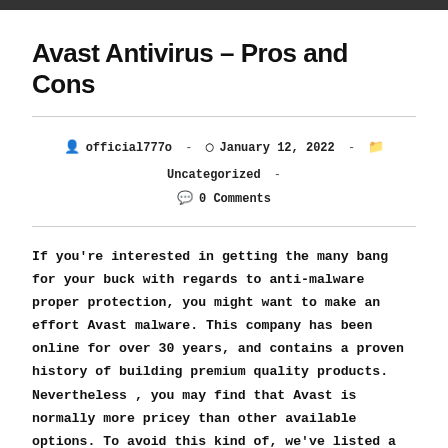Avast Antivirus – Pros and Cons
official777o  -  January 12, 2022  -  Uncategorized  -  0 Comments
If you're interested in getting the many bang for your buck with regards to anti-malware proper protection, you might want to make an effort Avast malware. This company has been online for over 30 years, and contains a proven history of building premium quality products. Nevertheless , you may find that Avast is normally more pricey than other available options. To avoid this kind of, we've listed a few pros and cons with this program.